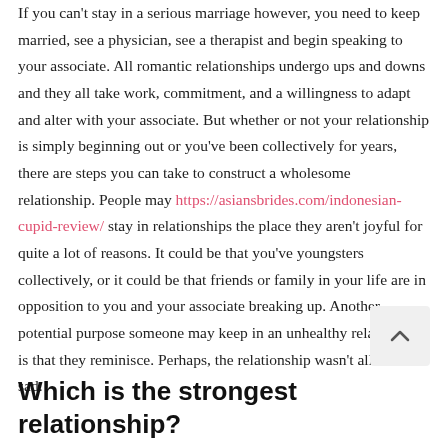If you can't stay in a serious marriage however, you need to keep married, see a physician, see a therapist and begin speaking to your associate. All romantic relationships undergo ups and downs and they all take work, commitment, and a willingness to adapt and alter with your associate. But whether or not your relationship is simply beginning out or you've been collectively for years, there are steps you can take to construct a wholesome relationship. People may https://asiansbrides.com/indonesian-cupid-review/ stay in relationships the place they aren't joyful for quite a lot of reasons. It could be that you've youngsters collectively, or it could be that friends or family in your life are in opposition to you and your associate breaking up. Another potential purpose someone may keep in an unhealthy relationship is that they reminisce. Perhaps, the relationship wasn't all the time sad.
Which is the strongest relationship?